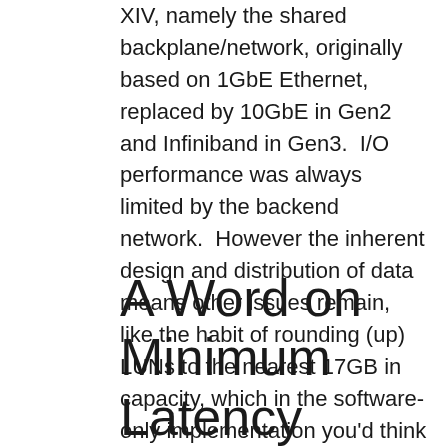XIV, namely the shared backplane/network, originally based on 1GbE Ethernet, replaced by 10GbE in Gen2 and Infiniband in Gen3. I/O performance was always limited by the backend network. However the inherent design and distribution of data means other issues remain, like the habit of rounding (up) LUNs to the nearest 17GB in capacity, which in the software-only implementation you'd think would have been overcome.
A Word on Minimum Latency